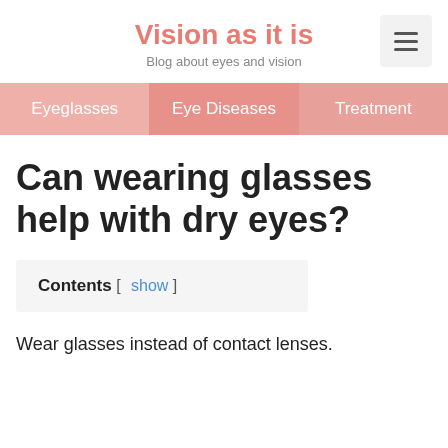Vision as it is
Blog about eyes and vision
Eyeglasses | Eye Diseases | Treatment
Can wearing glasses help with dry eyes?
Contents [ show ]
Wear glasses instead of contact lenses.